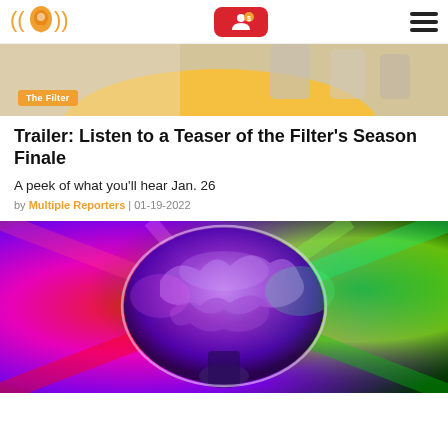Navigation header with podcast logo, account button, and hamburger menu
[Figure (photo): Top hero image strip showing people at a table with warm/beige tones, with an orange 'The Filter' badge overlay]
Trailer: Listen to a Teaser of the Filter's Season Finale
A peek of what you'll hear Jan. 26
by Multiple Reporters | 01-19-2022
[Figure (photo): Colorful psychedelic image of a brain/mushroom with rainbow colors including red, magenta, purple, green on dark background]